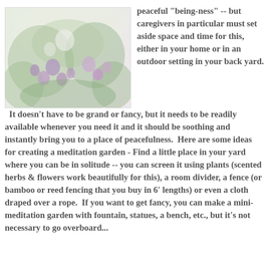[Figure (photo): A garden photo showing purple flowers and green foliage in a light, airy outdoor setting.]
peaceful "being-ness" -- but caregivers in particular must set aside space and time for this, either in your home or in an outdoor setting in your back yard.  It doesn't have to be grand or fancy, but it needs to be readily available whenever you need it and it should be soothing and instantly bring you to a place of peacefulness.  Here are some ideas for creating a meditation garden - Find a little place in your yard where you can be in solitude -- you can screen it using plants (scented herbs & flowers work beautifully for this), a room divider, a fence (or bamboo or reed fencing that you buy in 6' lengths) or even a cloth draped over a rope.  If you want to get fancy, you can make a mini-meditation garden with fountain, statues, a bench, etc., but it's not necessary to go overboard...